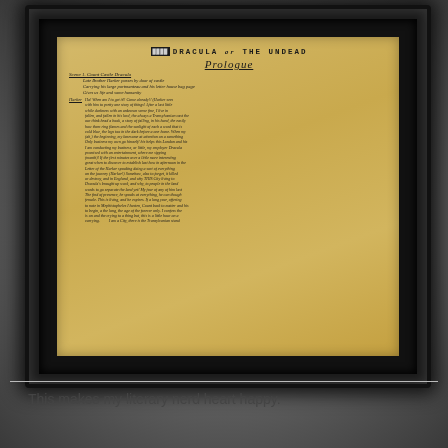[Figure (photo): A framed antique manuscript page showing handwritten text titled 'DRACULA or THE UNDEAD' with 'Prologue' written below in cursive, mounted in a dark black picture frame against a grey textured wall background. The manuscript appears aged and yellowed.]
This makes my literary nerd heart happy.